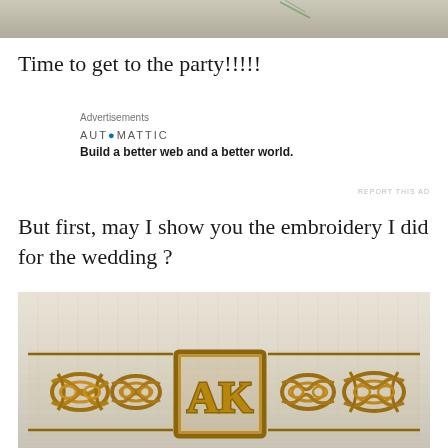[Figure (photo): Top portion of a photo showing an outdoor scene with muted earthy tones and a hint of green]
Time to get to the party!!!!!
Advertisements
[Figure (logo): Automattic logo with tagline: Build a better web and a better world.]
REPORT THIS AD
But first, may I show you the embroidery I did for the wedding ?
[Figure (photo): Close-up photo of white linen fabric with gold embroidery showing Celtic-style knotwork border and a central monogram 'AK' inside a square frame]